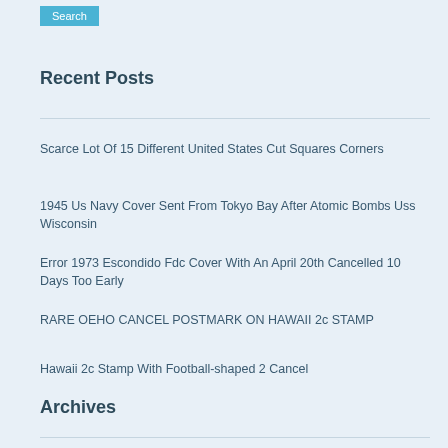Search
Recent Posts
Scarce Lot Of 15 Different United States Cut Squares Corners
1945 Us Navy Cover Sent From Tokyo Bay After Atomic Bombs Uss Wisconsin
Error 1973 Escondido Fdc Cover With An April 20th Cancelled 10 Days Too Early
RARE OEHO CANCEL POSTMARK ON HAWAII 2c STAMP
Hawaii 2c Stamp With Football-shaped 2 Cancel
Archives